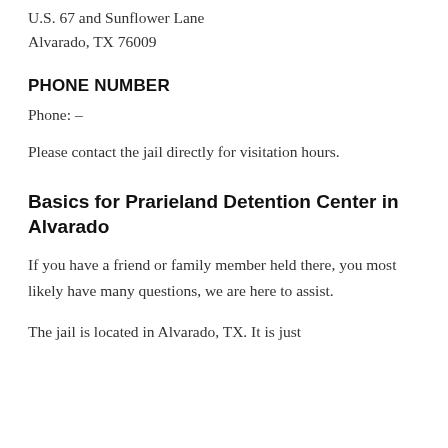U.S. 67 and Sunflower Lane
Alvarado, TX 76009
PHONE NUMBER
Phone: –
Please contact the jail directly for visitation hours.
Basics for Prarieland Detention Center in Alvarado
If you have a friend or family member held there, you most likely have many questions, we are here to assist.
The jail is located in Alvarado, TX. It is just